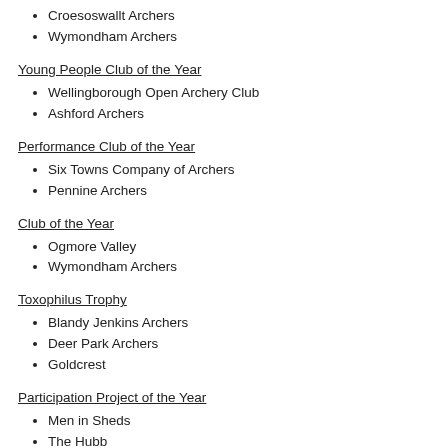Croesoswallt Archers
Wymondham Archers
Young People Club of the Year
Wellingborough Open Archery Club
Ashford Archers
Performance Club of the Year
Six Towns Company of Archers
Pennine Archers
Club of the Year
Ogmore Valley
Wymondham Archers
Toxophilus Trophy
Blandy Jenkins Archers
Deer Park Archers
Goldcrest
Participation Project of the Year
Men in Sheds
The Hubb